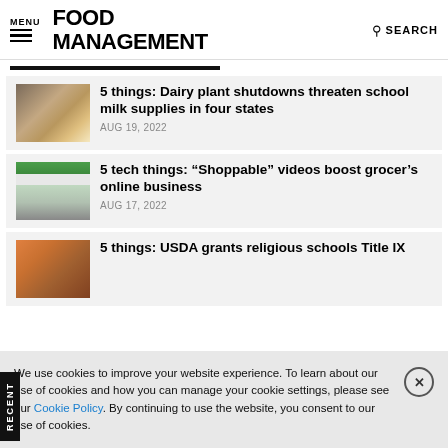MENU | FOOD MANAGEMENT | SEARCH
5 things: Dairy plant shutdowns threaten school milk supplies in four states — AUG 19, 2022
5 tech things: "Shoppable" videos boost grocer's online business — AUG 17, 2022
5 things: USDA grants religious schools Title IX exemption for school food facilities
We use cookies to improve your website experience. To learn about our use of cookies and how you can manage your cookie settings, please see our Cookie Policy. By continuing to use the website, you consent to our use of cookies.